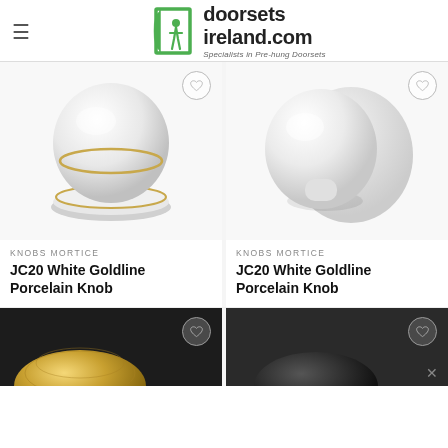doorsets ireland.com — Specialists in Pre-hung Doorsets
[Figure (photo): JC20 White Goldline Porcelain Knob — white porcelain door knob with gold ring detail on circular base]
[Figure (photo): JC20 White Goldline Porcelain Knob — white porcelain mushroom-shaped door knob on circular base]
KNOBS MORTICE
JC20 White Goldline Porcelain Knob
KNOBS MORTICE
JC20 White Goldline Porcelain Knob
[Figure (photo): Partial view of a brass/gold door knob (bottom of page, cropped)]
[Figure (photo): Partial view of a dark door knob (bottom of page, cropped)]